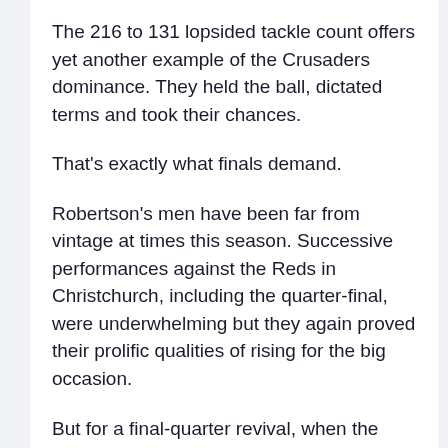The 216 to 131 lopsided tackle count offers yet another example of the Crusaders dominance. They held the ball, dictated terms and took their chances.
That's exactly what finals demand.
Robertson's men have been far from vintage at times this season. Successive performances against the Reds in Christchurch, including the quarter-final, were underwhelming but they again proved their prolific qualities of rising for the big occasion.
But for a final-quarter revival, when the Blues finally sparked into life, this contest was all the Crusaders.